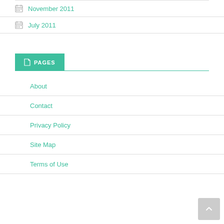November 2011
July 2011
PAGES
About
Contact
Privacy Policy
Site Map
Terms of Use